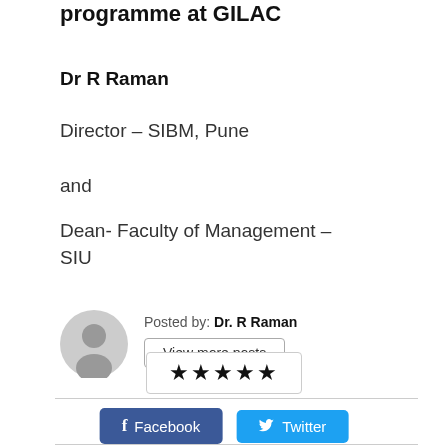programme at GILAC
Dr R Raman
Director – SIBM, Pune
and
Dean- Faculty of Management – SIU
Posted by: Dr. R Raman
View more posts
Facebook
Twitter
[Figure (other): Star rating display showing approximately 4.5 out of 5 stars]